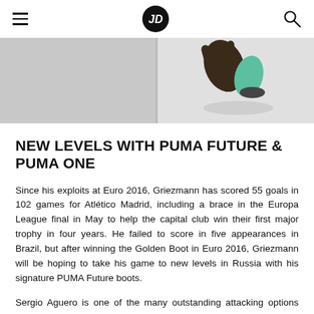JD Sports
[Figure (photo): Close-up photo of a person holding football boots, showing gloved hands gripping colourful cleats against a light background.]
NEW LEVELS WITH PUMA FUTURE & PUMA ONE
Since his exploits at Euro 2016, Griezmann has scored 55 goals in 102 games for Atlético Madrid, including a brace in the Europa League final in May to help the capital club win their first major trophy in four years. He failed to score in five appearances in Brazil, but after winning the Golden Boot in Euro 2016, Griezmann will be hoping to take his game to new levels in Russia with his signature PUMA Future boots.
Sergio Aguero is one of the many outstanding attacking options that Argentina can boast. Ahead